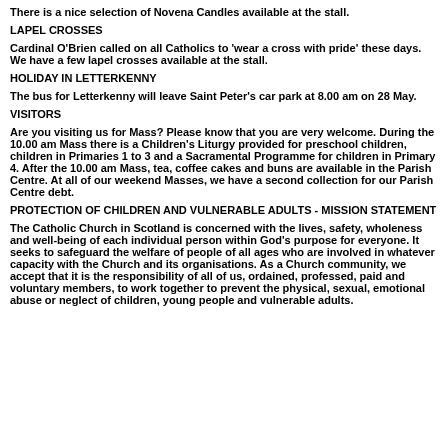There is a nice selection of Novena Candles available at the stall.
LAPEL CROSSES
Cardinal O'Brien called on all Catholics to 'wear a cross with pride' these days. We have a few lapel crosses available at the stall.
HOLIDAY IN LETTERKENNY
The bus for Letterkenny will leave Saint Peter's car park at 8.00 am on 28 May.
VISITORS
Are you visiting us for Mass? Please know that you are very welcome. During the 10.00 am Mass there is a Children's Liturgy provided for preschool children, children in Primaries 1 to 3 and a Sacramental Programme for children in Primary 4. After the 10.00 am Mass, tea, coffee cakes and buns are available in the Parish Centre. At all of our weekend Masses, we have a second collection for our Parish Centre debt.
PROTECTION OF CHILDREN AND VULNERABLE ADULTS - MISSION STATEMENT
The Catholic Church in Scotland is concerned with the lives, safety, wholeness and well-being of each individual person within God's purpose for everyone. It seeks to safeguard the welfare of people of all ages who are involved in whatever capacity with the Church and its organisations. As a Church community, we accept that it is the responsibility of all of us, ordained, professed, paid and voluntary members, to work together to prevent the physical, sexual, emotional abuse or neglect of children, young people and vulnerable adults.